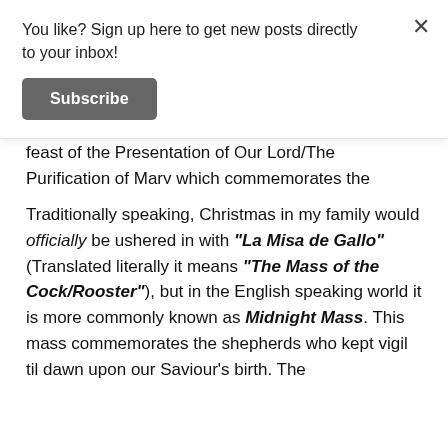You like? Sign up here to get new posts directly to your inbox!
Subscribe
feast of the Presentation of Our Lord/The Purification of Mary which commemorates the Jewish rite of pidyon ha-ben (The Redemption of the First Born), of which our Lord was obligated to having been born under the Law of Moses. However for our purposes I will be focusing on Christmas as observed in my household.
Traditionally speaking, Christmas in my family would officially be ushered in with “La Misa de Gallo” (Translated literally it means “The Mass of the Cock/Rooster”), but in the English speaking world it is more commonly known as Midnight Mass. This mass commemorates the shepherds who kept vigil til dawn upon our Saviour’s birth. The